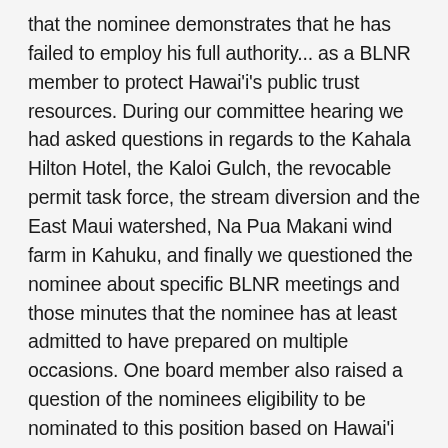that the nominee demonstrates that he has failed to employ his full authority... as a BLNR member to protect Hawai'i's public trust resources. During our committee hearing we had asked questions in regards to the Kahala Hilton Hotel, the Kaloi Gulch, the revocable permit task force, the stream diversion and the East Maui watershed, Na Pua Makani wind farm in Kahuku, and finally we questioned the nominee about specific BLNR meetings and those minutes that the nominee has at least admitted to have prepared on multiple occasions. One board member also raised a question of the nominees eligibility to be nominated to this position based on Hawai'i Revised Statutes § 171-4, which states and has apparently been part of Hawai'i's law since 1962, that among other things that the Board of Land and Natural Resources terms and qualifications of the board should be that there should be not more than three members on the board from the same political party.